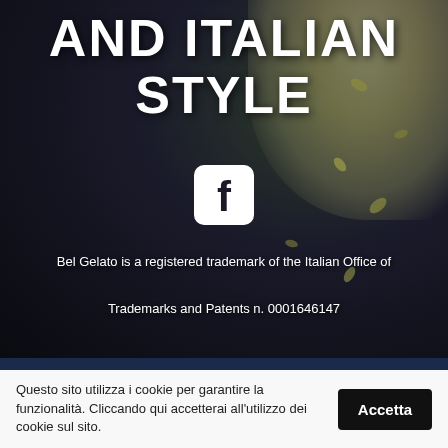AND ITALIAN STYLE
[Figure (logo): Facebook icon logo (white rounded square with 'f' lettermark)]
Bel Gelato is a registered trademark of the Italian Office of Trademarks and Patents n. 0001646147
Questo sito utilizza i cookie per garantire la funzionalità. Cliccando qui accetterai all'utilizzo dei cookie sul sito. Accetta